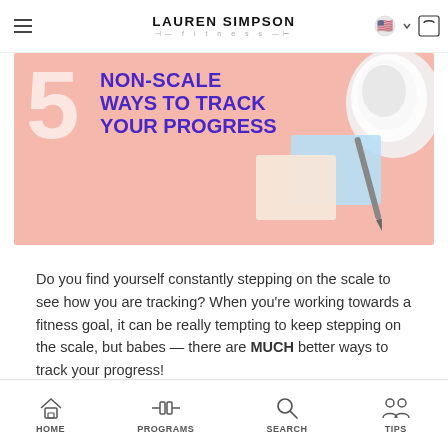LAUREN SIMPSON fitness
[Figure (photo): Hero banner image with pink background showing the number 5 and the text 'NON-SCALE WAYS TO TRACK YOUR PROGRESS' in purple bold font, with a white sneaker on the right and a notepad with a pen in the bottom right]
Do you find yourself constantly stepping on the scale to see how you are tracking? When you're working towards a fitness goal, it can be really tempting to keep stepping on the scale, but babes — there are MUCH better ways to track your progress!
HOME  PROGRAMS  SEARCH  TIPS